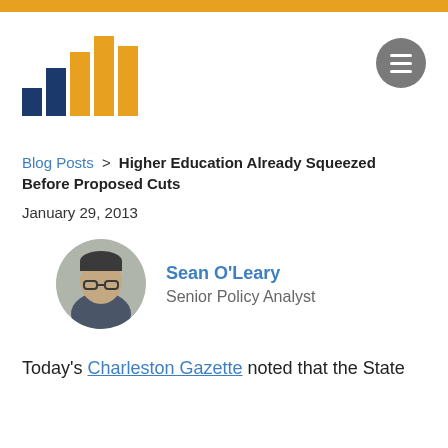[Figure (logo): West Virginia Center on Budget & Policy logo with bar chart graphic in navy and gold]
Blog Posts > Higher Education Already Squeezed Before Proposed Cuts
January 29, 2013
[Figure (photo): Headshot photo of Sean O'Leary, Senior Policy Analyst]
Sean O'Leary
Senior Policy Analyst
Today's Charleston Gazette noted that the State